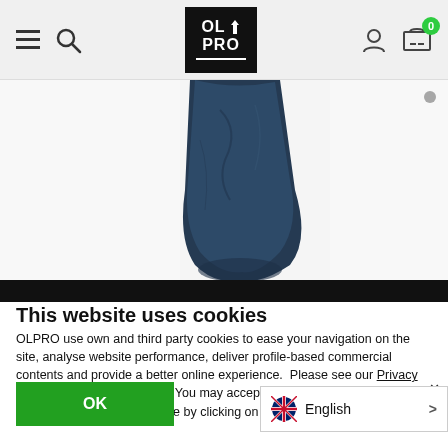OLPRO website header navigation
[Figure (photo): Close-up photo of a navy blue fabric bag or sleeping bag against a white background, showing wrinkled dark blue textile material]
This website uses cookies
OLPRO use own and third party cookies to ease your navigation on the site, analyse website performance, deliver profile-based commercial contents and provide a better online experience.  Please see our Privacy Policy for more information.  You may accept all cookies by clicking "Ok" or adjust your cookie preference by clicking on "Show Details" below.
OK
English >